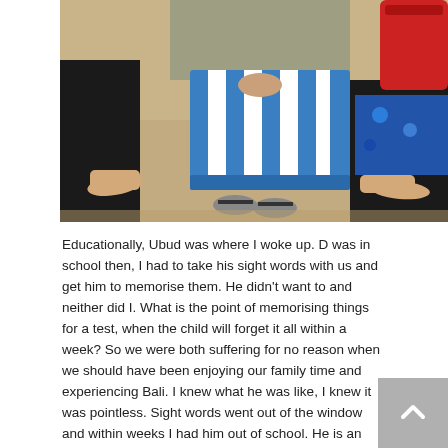[Figure (photo): Photo of people sitting on a sandy beach, with bare feet visible. A blue and white striped beach towel is draped across the lap of one person. Part of a red bag and blue patterned fabric are visible on the right side.]
Educationally, Ubud was where I woke up. D was in school then, I had to take his sight words with us and get him to memorise them. He didn't want to and neither did I. What is the point of memorising things for a test, when the child will forget it all within a week? So we were both suffering for no reason when we should have been enjoying our family time and experiencing Bali. I knew what he was like, I knew it was pointless. Sight words went out of the window and within weeks I had him out of school. He is an incredible reader now, he adores books. My younger child has never had to learn a sight word or a spelling list and guess what?